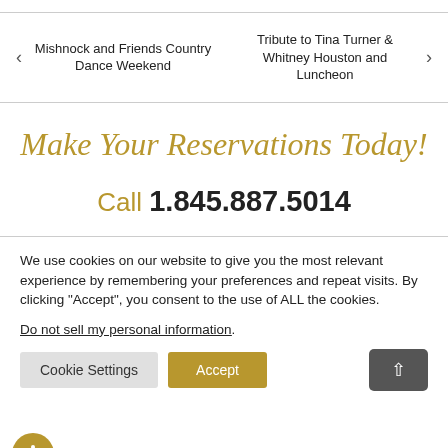Mishnock and Friends Country Dance Weekend | Tribute to Tina Turner & Whitney Houston and Luncheon
Make Your Reservations Today!
Call 1.845.887.5014
We use cookies on our website to give you the most relevant experience by remembering your preferences and repeat visits. By clicking "Accept", you consent to the use of ALL the cookies.
Do not sell my personal information.
Cookie Settings | Accept